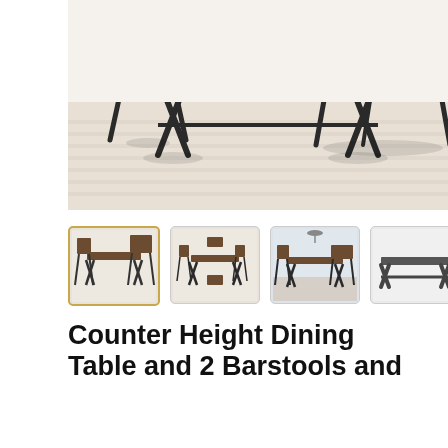[Figure (photo): Counter height dining table with chairs and bench set, dark wood top with black metal X-frame legs, photographed on a beige/cream striped area rug in a bright room.]
[Figure (photo): Thumbnail 1 (selected): Dining set with table and chairs in room setting]
[Figure (photo): Thumbnail 2: Full dining set with 6 chairs, top-down angled view]
[Figure (photo): Thumbnail 3: Dining set in room with pendant light]
[Figure (photo): Thumbnail 4: Counter height table standalone, side profile]
Counter Height Dining Table and 2 Barstools and